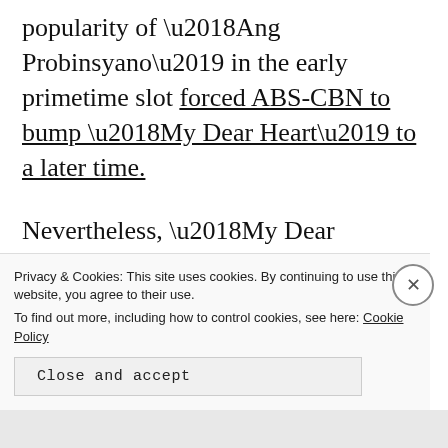popularity of ‘Ang Probinsyano’ in the early primetime slot forced ABS-CBN to bump ‘My Dear Heart’ to a later time.
Nevertheless, ‘My Dear Heart’ proved to be a ratings success in its own right. The series averaged 28% in the Kantar ratings, with some episodes peaking at 30% or better.
While ‘My Dear Heart’ began its
Privacy & Cookies: This site uses cookies. By continuing to use this website, you agree to their use.
To find out more, including how to control cookies, see here: Cookie Policy